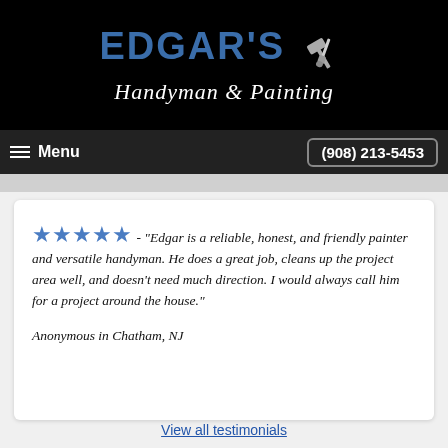[Figure (logo): Edgar's Handyman & Painting logo with hammer and paintbrush icons on black background]
Menu  (908) 213-5453
★★★★★ - "Edgar is a reliable, honest, and friendly painter and versatile handyman. He does a great job, cleans up the project area well, and doesn't need much direction. I would always call him for a project around the house."
Anonymous in Chatham, NJ
View all testimonials